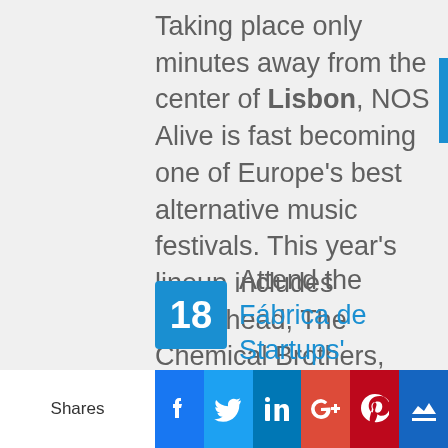Taking place only minutes away from the center of Lisbon, NOS Alive is fast becoming one of Europe's best alternative music festivals. This year's lineup includes Radiohead, The Chemical Brothers, The Pixies, Robert Plant, the Foals, and Grimes. If you attend just one festival this year, make it this one – where else will you get to see Radiohead and loads of other amazing acts for only €56? We'll see you there at the Passeio Marítimo de Algés from July 7-9th.
18 Attend the Fábrica de Startups'
Shares | Facebook | Twitter | LinkedIn | Google+ | Pinterest | Crown